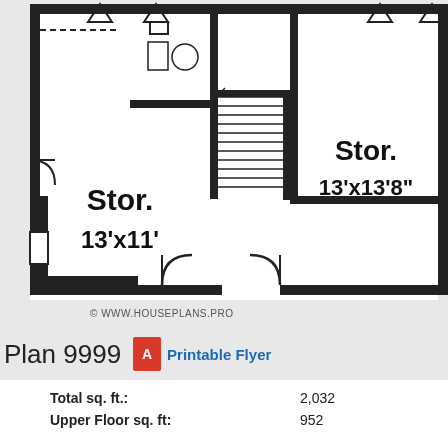[Figure (engineering-diagram): Floor plan showing two storage rooms. Left storage room labeled 'Stor. 13'x11'' and right storage room labeled 'Stor. 13'x13'8". Includes bathroom fixtures, staircase, and door swings.]
© WWW.HOUSEPLANS.PRO
Plan 9999  Printable Flyer
| Total sq. ft.: | 2,032 |
| Upper Floor sq. ft: | 952 |